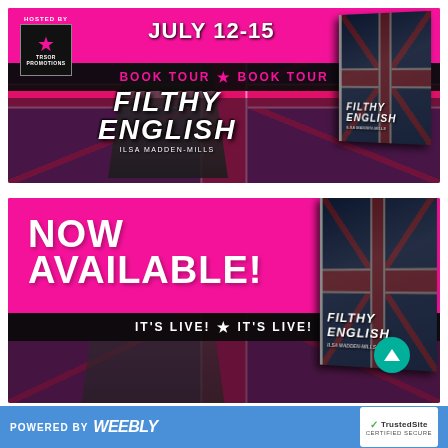[Figure (infographic): Book tour promotional banner for 'Filthy English' by Ilsa Madden-Mills. Pink background with Union Jack overlay, black strip reading 'BOOK TOUR ★ BOOK TOUR', date 'JULY 12-15', hosted by TRSOR Promotions logo, shirtless male model, and 3D book cover of 'Filthy English'.]
[Figure (infographic): Book release banner for 'Filthy English' by Ilsa Madden-Mills. Pink background with Union Jack overlay, 'NOW AVAILABLE!' in large white text, black strip reading 'IT'S LIVE! ★ IT'S LIVE!', 3D book cover, and green arrow circle button.]
POWERED BY weebly | TrustedSite CERTIFIED SECURE